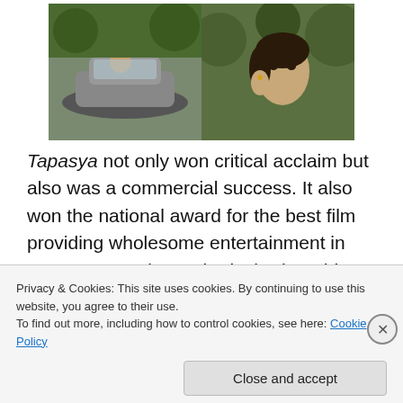[Figure (photo): Two film stills side by side: left shows a person in a car, right shows a woman with hand near her face against a green background]
Tapasya not only won critical acclaim but also was a commercial success. It also won the national award for the best film providing wholesome entertainment in 1975. Its remake – Ek Vivah Aisa Bhi (2008) could not be as impressive as the original. While paying my tribute to Ravindra Jain, I recommend this beautiful movie to one and all. Watch Tapasya and enter the world of simplicity
Privacy & Cookies: This site uses cookies. By continuing to use this website, you agree to their use.
To find out more, including how to control cookies, see here: Cookie Policy
Close and accept